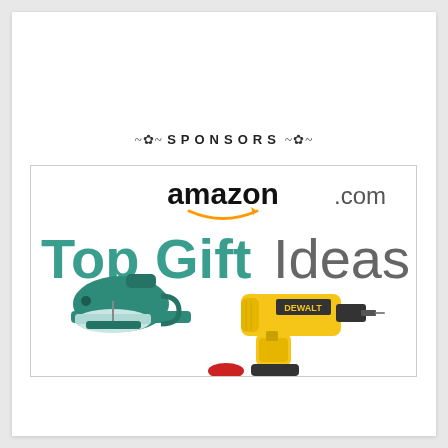~*~ SPONSORS ~*~
[Figure (illustration): Amazon.com Top Gift Ideas advertisement banner featuring a KitchenAid stand mixer (teal) and a DeWalt power drill (yellow) with the Amazon.com logo and smile arrow at top.]